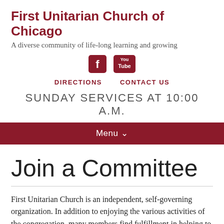First Unitarian Church of Chicago
A diverse community of life-long learning and growing
[Figure (logo): Facebook and YouTube social media icons in dark red]
DIRECTIONS   CONTACT US
SUNDAY SERVICES AT 10:00 A.M.
Menu ∨
Join a Committee
First Unitarian Church is an independent, self-governing organization. In addition to enjoying the various activities of the congregation, many members find fulfillment in helping to keep the church functioning. This is a great way